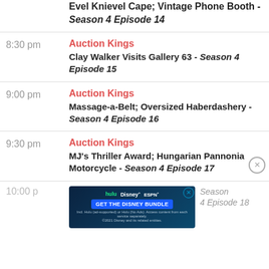Evel Knievel Cape; Vintage Phone Booth - Season 4 Episode 14
8:30 pm — Auction Kings — Clay Walker Visits Gallery 63 - Season 4 Episode 15
9:00 pm — Auction Kings — Massage-a-Belt; Oversized Haberdashery - Season 4 Episode 16
9:30 pm — Auction Kings — MJ's Thriller Award; Hungarian Pannonia Motorcycle - Season 4 Episode 17
10:00 pm — Auction Kings — Season 4 Episode 18
[Figure (other): Disney Bundle advertisement banner: hulu, Disney+, ESPN+ logos with 'GET THE DISNEY BUNDLE' call-to-action button. Fine print: Incl. Hulu (ad-supported) or Hulu (No Ads). Access content from each service separately. ©2021 Disney and its related entities.]